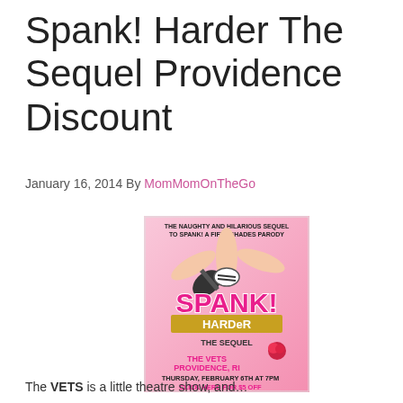Spank! Harder The Sequel Providence Discount
January 16, 2014 By MomMomOnTheGo
[Figure (photo): Promotional poster for Spank! Harder The Sequel show at The Vets Providence RI, Thursday February 6th at 7pm, click here for $5 off. Pink background with illustrated hands holding a paddle, text reads THE NAUGHTY AND HILARIOUS SEQUEL TO SPANK! A FIFTY SHADES PARODY]
The VETS is a little theatre show, and...